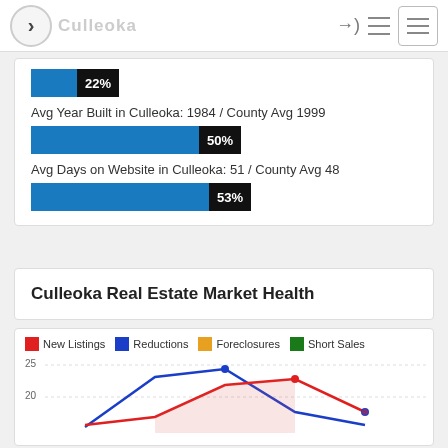Culleoka [website header with navigation]
22%
Avg Year Built in Culleoka: 1984 / County Avg 1999
50%
Avg Days on Website in Culleoka: 51 / County Avg 48
53%
Culleoka Real Estate Market Health
[Figure (line-chart): Line chart showing market health metrics over time with values up to 25 visible, showing New Listings (red) and Reductions (blue) lines with peaks around 25 and 22 respectively.]